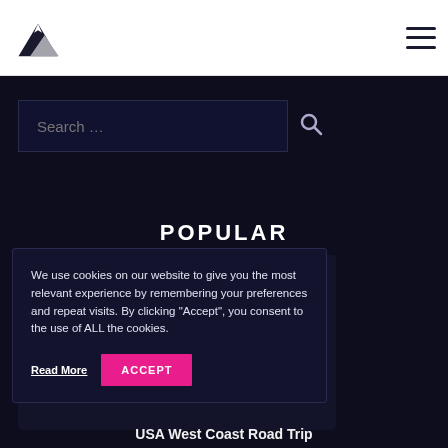Site logo and navigation header
Search …
POPULAR
We use cookies on our website to give you the most relevant experience by remembering your preferences and repeat visits. By clicking "Accept", you consent to the use of ALL the cookies.
Read More
ACCEPT
USA West Coast Road Trip